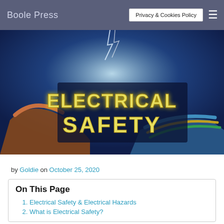Boole Press  Privacy & Cookies Policy  ≡
[Figure (illustration): Hero banner image showing electrical wires with sparks on a dark blue background, with large yellow glowing text reading ELECTRICAL SAFETY]
by Goldie on October 25, 2020
On This Page
Electrical Safety & Electrical Hazards
What is Electrical Safety?